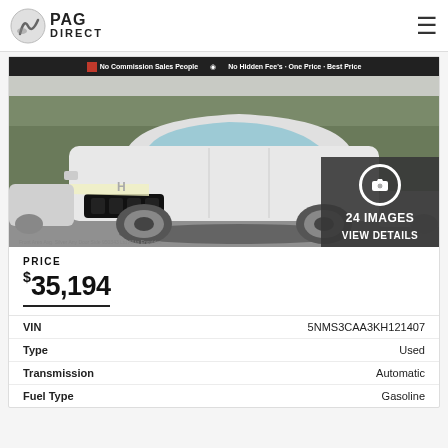PAG DIRECT
[Figure (photo): 2019 Hyundai Santa Fe white SUV, front three-quarter view, parked in a lot with trees in the background. Banner text: 'No Commission Sales People · No Hidden Fee's · One Price · Best Price'. Overlay: camera icon, 24 IMAGES, VIEW DETAILS.]
PRICE $35,194
|  |  |
| --- | --- |
| VIN | 5NMS3CAA3KH121407 |
| Type | Used |
| Transmission | Automatic |
| Fuel Type | Gasoline |